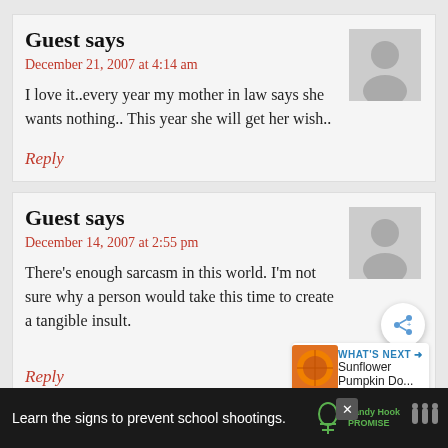Guest says
December 21, 2007 at 4:14 am
I love it..every year my mother in law says she wants nothing.. This year she will get her wish..
Reply
Guest says
December 14, 2007 at 2:55 pm
There's enough sarcasm in this world. I'm not sure why a person would take this time to create a tangible insult.
Reply
Guest says
Learn the signs to prevent school shootings.